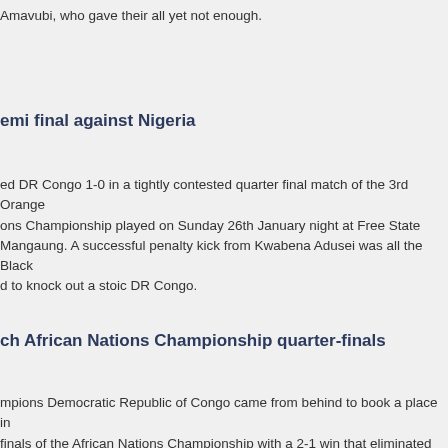Amavubi, who gave their all yet not enough.
semi final against Nigeria
ed DR Congo 1-0 in a tightly contested quarter final match of the 3rd Orange ons Championship played on Sunday 26th January night at Free State Mangaung. A successful penalty kick from Kwabena Adusei was all the Black d to knock out a stoic DR Congo.
ch African Nations Championship quarter-finals
mpions Democratic Republic of Congo came from behind to book a place in finals of the African Nations Championship with a 2-1 win that eliminated ndi at Peter Mokaba stadium in Polokwane on Wednesday evening.